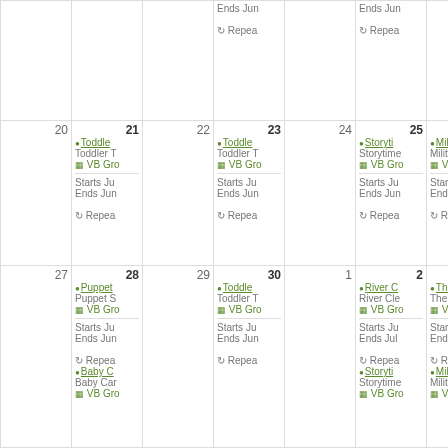| Sun | Mon | Tue | Wed | Thu | Fri | Sat |
| --- | --- | --- | --- | --- | --- | --- |
| (partial) | (partial) | (partial) | Ends Jun / Repea | (partial) | Ends Jun / Repea | (partial) |
| 20 | 21 / Toddler T / VB Gro / Starts Ju / Ends Jun / Repea | 22 | 23 / Toddler T / VB Gro / Starts Ju / Ends Jun / Repea | 24 | 25 / Storyti / VB Gro / Starts Ju / Ends Jun / Repea | 26 / Military / VB Gro / Starts Ju / Ends Jun / Repea |
| 27 | 28 / Puppet S / VB Gro / Starts Ju / Ends Jun / Repea / Baby Ca / VB Gro | 29 | 30 / Toddler T / VB Gro / Starts Ju / Ends Jun / Repea | 1 | 2 / River Cle / VB Gro / Starts Ju / Ends Jul / Repea / Storyti / VB Gro | 3 / The New / VB Gro / Starts Ju / Ends July / Repea / Military / VB Gro |